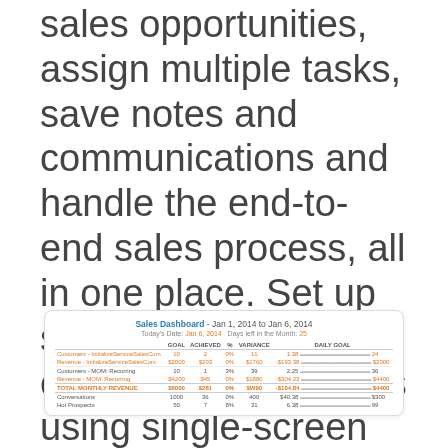sales opportunities, assign multiple tasks, save notes and communications and handle the end-to-end sales process, all in one place. Set up sales team and goals easily. Track progress using single-screen dashboard and detailed reporting in real time.
[Figure (screenshot): Sales Dashboard screenshot showing Jan 1, 2014 to Jan 6, 2014 data. Today's Date: Jan 6, 2014. Days left in the Month: 25. Table with columns: GOAL, ACHIEVED, %, VARIANCE, DAILY GOAL. Rows: Customers-InitializeServiceSalesCom (10, 2, 0%, 11, 1.38); Revenue-InitializeServiceSalesCom ($2000, $203, 0%, $1760, -$193.38); Customers-MOM: Recurring (10, 1, 3%, 39, 2.25); Revenue-MOM: Recurring ($4200, $45, 0%, $1880, -$304.23); TOTAL MONTHLY REVENUE ($6000, $281, 0%, $W90, -$104.84); Conversations (1000, 36, 0%, 400, $40.38); Hot Prospects (50, 7, 8%, 31, 6.38)]